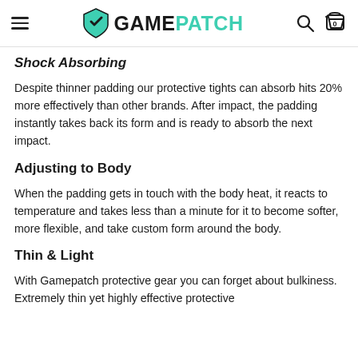GAMEPATCH
Shock Absorbing
Despite thinner padding our protective tights can absorb hits 20% more effectively than other brands. After impact, the padding instantly takes back its form and is ready to absorb the next impact.
Adjusting to Body
When the padding gets in touch with the body heat, it reacts to temperature and takes less than a minute for it to become softer, more flexible, and take custom form around the body.
Thin & Light
With Gamepatch protective gear you can forget about bulkiness. Extremely thin yet highly effective protective